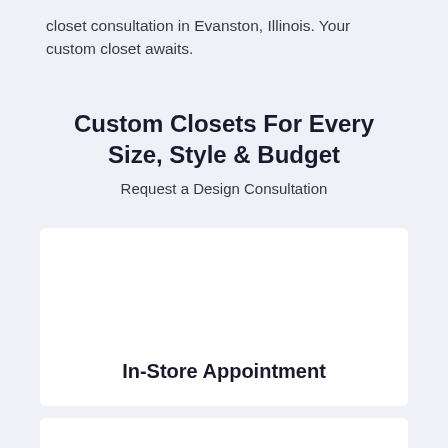closet consultation in Evanston, Illinois. Your custom closet awaits.
Custom Closets For Every Size, Style & Budget
Request a Design Consultation
[Figure (other): White card panel for In-Store Appointment section]
In-Store Appointment
[Figure (other): White card panel at bottom of page (partial)]